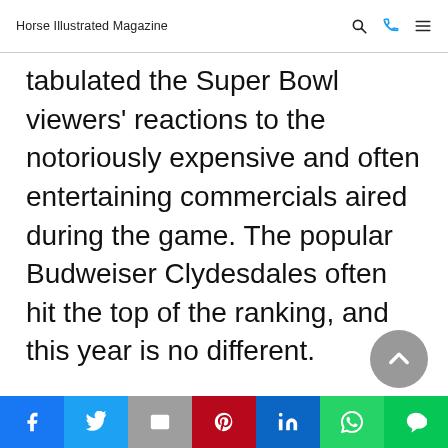Horse Illustrated Magazine
tabulated the Super Bowl viewers' reactions to the notoriously expensive and often entertaining commercials aired during the game. The popular Budweiser Clydesdales often hit the top of the ranking, and this year is no different.
Social share bar: Facebook, Twitter, Email, Pinterest, LinkedIn, WhatsApp, Line